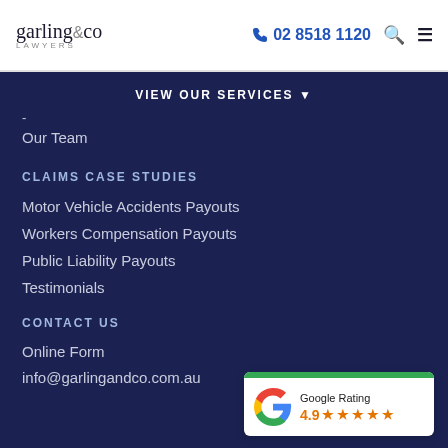garling&co LAWYERS | 02 8518 1120
VIEW OUR SERVICES ▼
-
Our Team
CLAIMS CASE STUDIES
Motor Vehicle Accidents Payouts
Workers Compensation Payouts
Public Liability Payouts
Testimonials
CONTACT US
Online Form
info@garlingandco.com.au
[Figure (infographic): Google Rating badge showing 4.9 stars with five gold star icons and the Google 'G' logo]